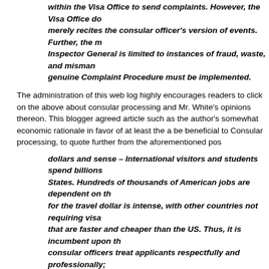within the Visa Office to send complaints. However, the Visa Office do merely recites the consular officer's version of events. Further, the m Inspector General is limited to instances of fraud, waste, and misman genuine Complaint Procedure must be implemented.
The administration of this web log highly encourages readers to click on the above about consular processing and Mr. White's opinions thereon. This blogger agreed article such as the author's somewhat economic rationale in favor of at least the a be beneficial to Consular processing, to quote further from the aforementioned pos
dollars and sense – International visitors and students spend billions States. Hundreds of thousands of American jobs are dependent on th for the travel dollar is intense, with other countries not requiring visa that are faster and cheaper than the US. Thus, it is incumbent upon th consular officers treat applicants respectfully and professionally;
The American People in general, the States as well as all sectors of the Federal go tremendous amount of economic activity that occurs as a result of foreign direct in dollars spent in the United States of America. Streamlined visa processing and pro but this blogger did take some exception with at least one passage in the aforeme
doctrine of consular nonreviewability – There is no formal administra overwhelming majority of visa decisions, meaning that consular offic for the decisions they make. In the view of many, this non-accountabi emboldens consular officers, leading to a fiefdom mentality;
The administration of this blog highly recommends that readers click upon the abo